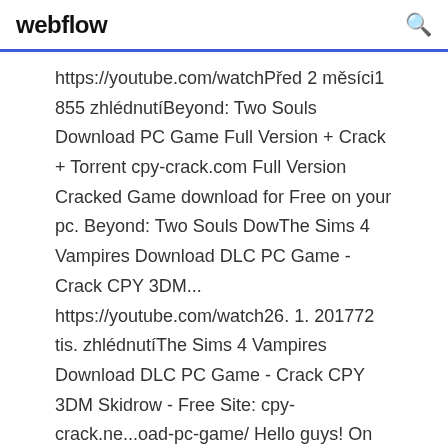webflow
https://youtube.com/watchPřed 2 měsíci1 855 zhlédnutíBeyond: Two Souls Download PC Game Full Version + Crack + Torrent cpy-crack.com Full Version Cracked Game download for Free on your pc. Beyond: Two Souls DowThe Sims 4 Vampires Download DLC PC Game - Crack CPY 3DM... https://youtube.com/watch26. 1. 201772 tis. zhlédnutíThe Sims 4 Vampires Download DLC PC Game - Crack CPY 3DM Skidrow - Free Site: cpy-crack.ne...oad-pc-game/ Hello guys! On thSkidrow Games - Pc Games - Crack Download - Free Download...https://skidrow-games.com/pageSkidrow Games - Pc Games - Full Game 100 Downloads Skidrow Reloaded...